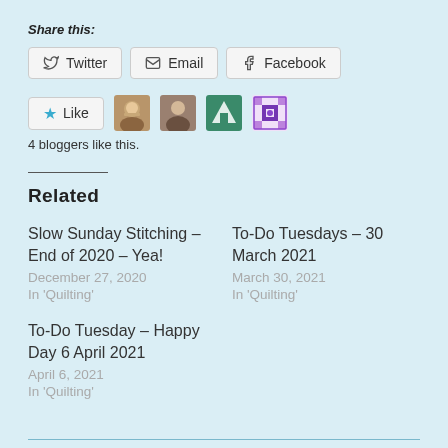Share this:
Twitter
Email
Facebook
[Figure (infographic): Like button with star icon, followed by 4 blogger avatar thumbnails]
4 bloggers like this.
Related
Slow Sunday Stitching – End of 2020 – Yea!
December 27, 2020
In 'Quilting'
To-Do Tuesdays – 30 March 2021
March 30, 2021
In 'Quilting'
To-Do Tuesday – Happy Day 6 April 2021
April 6, 2021
In 'Quilting'